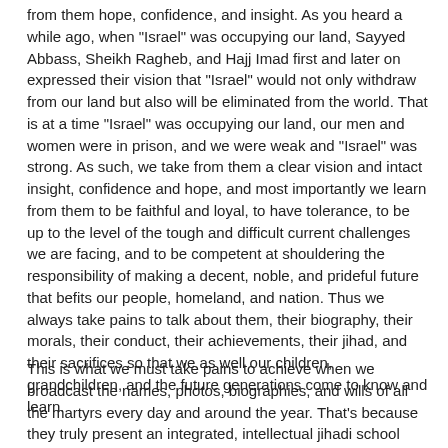from them hope, confidence, and insight. As you heard a while ago, when "Israel" was occupying our land, Sayyed Abbass, Sheikh Ragheb, and Hajj Imad first and later on expressed their vision that "Israel" would not only withdraw from our land but also will be eliminated from the world. That is at a time "Israel" was occupying our land, our men and women were in prison, and we were weak and "Israel" was strong. As such, we take from them a clear vision and intact insight, confidence and hope, and most importantly we learn from them to be faithful and loyal, to have tolerance, to be up to the level of the tough and difficult current challenges we are facing, and to be competent at shouldering the responsibility of making a decent, noble, and prideful future that befits our people, homeland, and nation. Thus we always take pains to talk about them, their biography, their morals, their conduct, their achievements, their jihad, and their sacrifices so that we as well our children, grandchildren, and the future generations come to know and learn.
This is what we must take pains to achieve when we broadcast the names, photos, biographies, and wills of all the martyrs every day and around the year. That's because they truly present an integrated, intellectual jihadi school which we must introduce and with which we must be acquainted. For 32 years by now, a generation of young men who were 18, 19, 20, 23, and 25 at most by that time and who were scholars and